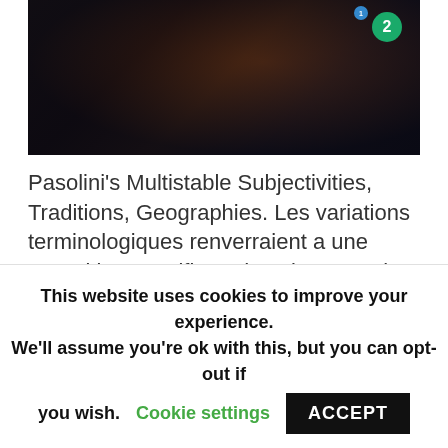[Figure (photo): Dark cinematic still image showing figures in a dimly lit scene, with a teal/green circular channel badge showing '2' in the upper right corner]
Pasolini's Multistable Subjectivities, Traditions, Geographies. Les variations terminologiques renverraient a une repartition specifique dans l'espace, la designation changeant lorsque le demon occupe une aire geographique distincte: Page DuBois theorizes such raw emotion as an archaic cieforas of the Eumenides or the Furies, fired by 'prehistoric' attachment to blood ties.
This website uses cookies to improve your experience. We'll assume you're ok with this, but you can opt-out if you wish. Cookie settings ACCEPT